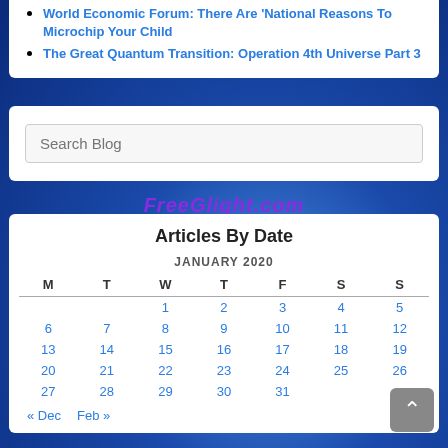World Economic Forum: There Are 'National Reasons To Microchip Your Child
The Great Quantum Transition: Operation 4th Universe Part 3
Search Blog
FreeGlight.com
Articles By Date
| M | T | W | T | F | S | S |
| --- | --- | --- | --- | --- | --- | --- |
|  |  | 1 | 2 | 3 | 4 | 5 |
| 6 | 7 | 8 | 9 | 10 | 11 | 12 |
| 13 | 14 | 15 | 16 | 17 | 18 | 19 |
| 20 | 21 | 22 | 23 | 24 | 25 | 26 |
| 27 | 28 | 29 | 30 | 31 |  |  |
« Dec   Feb »